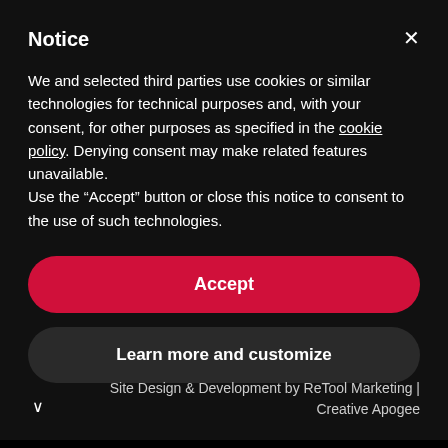Notice
We and selected third parties use cookies or similar technologies for technical purposes and, with your consent, for other purposes as specified in the cookie policy. Denying consent may make related features unavailable.
Use the “Accept” button or close this notice to consent to the use of such technologies.
Accept
Learn more and customize
Site Design & Development by ReTool Marketing | Creative Apogee